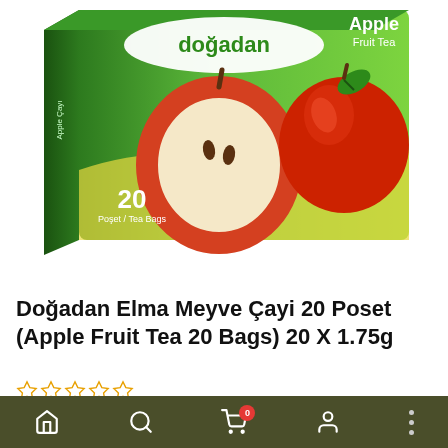[Figure (photo): Doğadan Apple Fruit Tea (Elma Meyve Çayı) product box, green packaging with red apple imagery, showing 20 Poşet/Tea Bags label]
Doğadan Elma Meyve Çayi 20 Poset (Apple Fruit Tea 20 Bags) 20 X 1.75g
BE THE FIRST TO REVIEW THIS PRODUCT